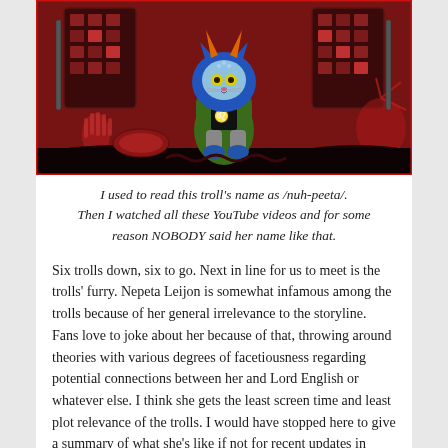[Figure (illustration): A pixel-art style illustration of Nepeta Leijon, a blue cat-like troll character with orange horns, yellow eyes, wearing a green hoodie with a Leo symbol. She stands on a dark red/maroon background with card-like panels on either side showing various symbols, and dark silhouetted ground.]
I used to read this troll's name as /nuh-peeta/. Then I watched all these YouTube videos and for some reason NOBODY said her name like that.
Six trolls down, six to go. Next in line for us to meet is the trolls' furry. Nepeta Leijon is somewhat infamous among the trolls because of her general irrelevance to the storyline. Fans love to joke about her because of that, throwing around theories with various degrees of facetiousness regarding potential connections between her and Lord English or whatever else. I think she gets the least screen time and least plot relevance of the trolls. I would have stopped here to give a summary of what she's like if not for recent updates in which